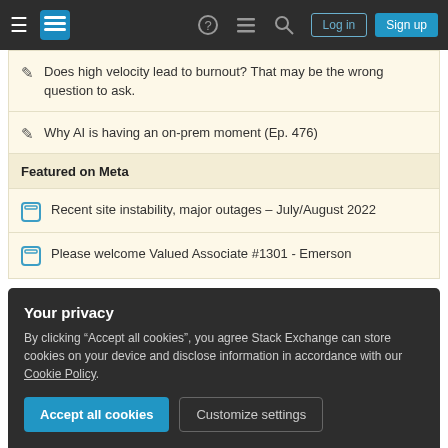Stack Exchange navigation bar with Log in and Sign up buttons
Does high velocity lead to burnout? That may be the wrong question to ask.
Why AI is having an on-prem moment (Ep. 476)
Featured on Meta
Recent site instability, major outages – July/August 2022
Please welcome Valued Associate #1301 - Emerson
Related
Your privacy
By clicking "Accept all cookies", you agree Stack Exchange can store cookies on your device and disclose information in accordance with our Cookie Policy.
Accept all cookies   Customize settings